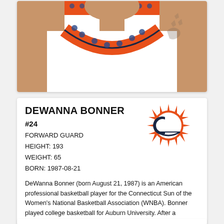[Figure (photo): Photo of DeWanna Bonner wearing a white Connecticut Sun WNBA jersey with orange and blue decorative neckline pattern, tattoo visible on right arm, photo cropped at neck/shoulders level]
DEWANNA BONNER
#24
FORWARD GUARD
HEIGHT: 193
WEIGHT: 65
BORN: 1987-08-21
[Figure (logo): Connecticut Sun WNBA team logo — orange sunburst with navy blue C and basketball]
DeWanna Bonner (born August 21, 1987) is an American professional basketball player for the Connecticut Sun of the Women's National Basketball Association (WNBA). Bonner played college basketball for Auburn University. After a successful college career at Auburn, she was drafted by the Phoenix Mercury with the fifth overall pick of the 2009 WNBA draft, and was traded to the Sun 11 years later.